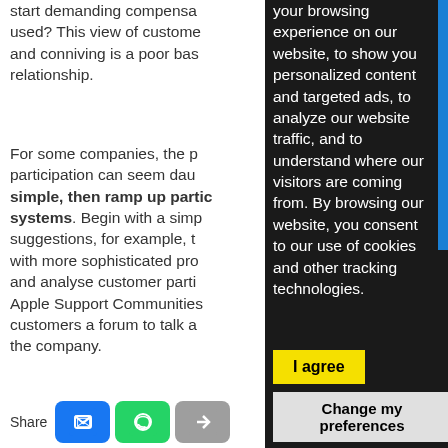start demanding compensa used? This view of custome and conniving is a poor bas relationship.
For some companies, the p participation can seem dau simple, then ramp up partic systems. Begin with a simp suggestions, for example, t with more sophisticated pro and analyse customer parti Apple Support Communities customers a forum to talk a the company.
your browsing experience on our website, to show you personalized content and targeted ads, to analyze our website traffic, and to understand where our visitors are coming from. By browsing our website, you consent to our use of cookies and other tracking technologies.
I agree
Change my preferences
Share